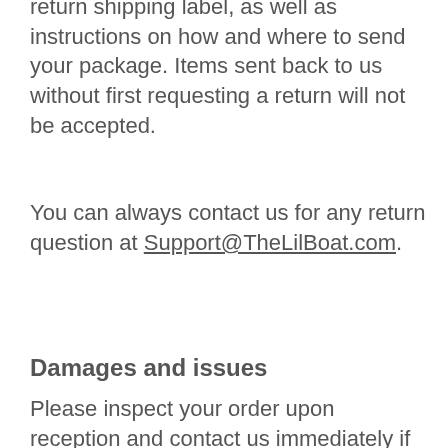return shipping label, as well as instructions on how and where to send your package. Items sent back to us without first requesting a return will not be accepted.
You can always contact us for any return question at Support@TheLilBoat.com.
Damages and issues
Please inspect your order upon reception and contact us immediately if the item is defective, damaged or if